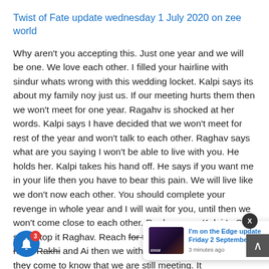Twist of Fate update wednesday 1 July 2020 on zee world
Why aren't you accepting this. Just one year and we will be one. We love each other. I filled your hairline with sindur whats wrong with this wedding locket. Kalpi says its about my family noy just us. If our meeting hurts them then we won't meet for one year. Ragahv is shocked at her words. Kalpi says I have decided that we won't meet for rest of the year and won't talk to each other. Raghav says what are you saying I won't be able to live with you. He holds her. Kalpi takes his hand off. He says if you want me in your life then you have to bear this pain. We will live like we don't now each other. You should complete your revenge in whole year and I will wait for you, until then we won't come close to each other. Raghav says Kalpi I.. She says stop it Raghav. Reach for the stars 1st July 2020. If it hurts Rakhi and Ai then we with you w akhi's husb and AI if they come to know that we are still meeting. It
[Figure (screenshot): Notification popup showing 'I'm on the Edge update Friday 2 September 2022' with thumbnail image and '3 minutes ago' timestamp. Also shows a blue bell notification button with badge '3', a close X button, and a scroll-to-top arrow button.]